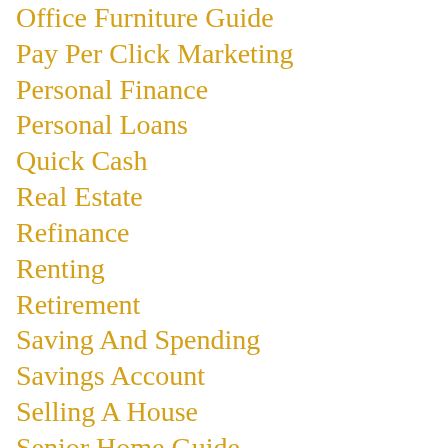Office Furniture Guide
Pay Per Click Marketing
Personal Finance
Personal Loans
Quick Cash
Real Estate
Refinance
Renting
Retirement
Saving And Spending
Savings Account
Selling A House
Senior Home Guide
Senior Medication Tips
Senior Memory Care
SS Retirement Tips